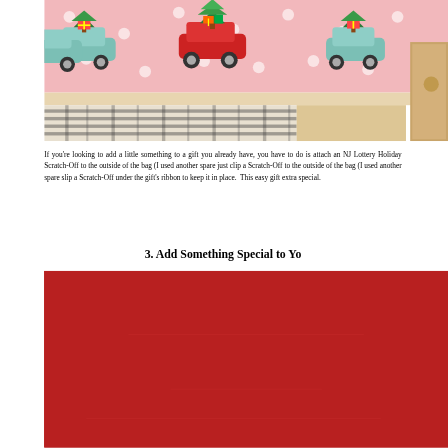[Figure (photo): Christmas gift wrapping scene: pink wrapping paper with red and teal vintage cars carrying Christmas trees, brown kraft box visible on right, table surface with plaid and textured fabrics]
If you're looking to add a little something to a gift you already have, you have to do is attach an NJ Lottery Holiday Scratch-Off to the outside of the bag (I used another spare just clip a Scratch-Off to the outside of the bag (I used another spare slip a Scratch-Off under the gift's ribbon to keep it in place.  This easy gift extra special.
3. Add Something Special to Yo
[Figure (photo): Red fabric or felt surface filling the bottom portion of the image]